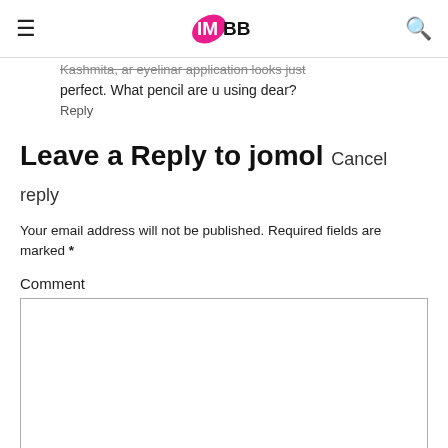IMBB
Kashmita, ar eyelinar application looks just perfect. What pencil are u using dear?
Reply
Leave a Reply to jomol Cancel reply
Your email address will not be published. Required fields are marked *
Comment